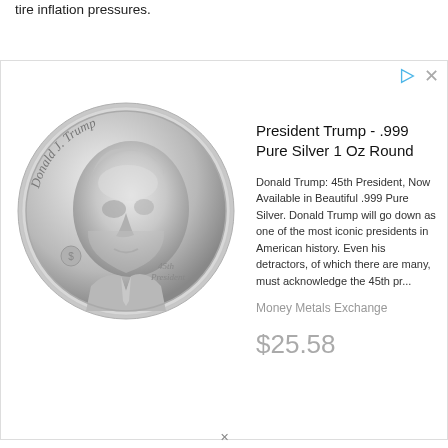tire inflation pressures.
[Figure (photo): Advertisement showing a silver commemorative coin with Donald J. Trump's profile portrait, labeled '45th President']
President Trump - .999 Pure Silver 1 Oz Round
Donald Trump: 45th President, Now Available in Beautiful .999 Pure Silver. Donald Trump will go down as one of the most iconic presidents in American history. Even his detractors, of which there are many, must acknowledge the 45th pr...
Money Metals Exchange
$25.58